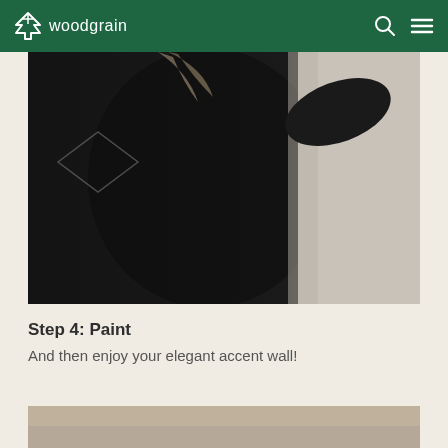woodgrain
[Figure (photo): A person dressed in black painting or touching a wall. The right side of the image shows a light-colored wall surface.]
Step 4: Paint
And then enjoy your elegant accent wall!
[Figure (photo): Bottom portion of another image, partially visible, showing a warm-toned surface.]